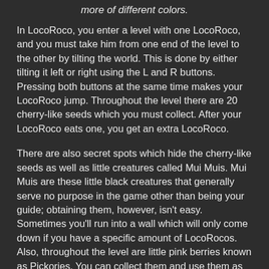more of different colors.
In LocoRoco, you enter a level with one LocoRoco, and you must take him from one end of the level to the other by tilting the world. This is done by either tilting it left or right using the L and R buttons. Pressing both buttons at the same time makes your LocoRoco jump. Throughout the level there are 20 cherry-like seeds which you must collect. After your LocoRoco eats one, you get an extra LocoRoco.
There are also secret spots which hide the cherry-like seeds as well as little creatures called Mui Muis. Mui Muis are these little black creatures that generally serve no purpose in the game other than being your guide; obtaining them, however, isn't easy. Sometimes you'll run into a wall which will only come down if you have a specific amount of LocoRocos. Also, throughout the level are little pink berries known as Pickories. You can collect them and use them as cash when you want to play a minigame